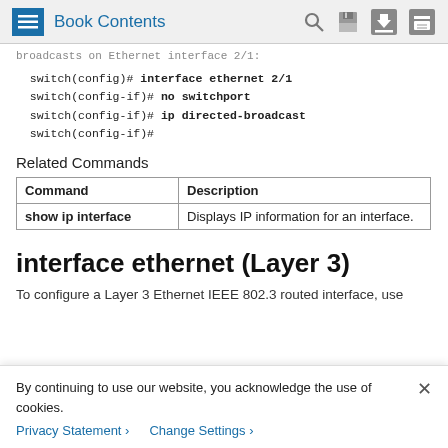Book Contents
broadcasts on Ethernet interface 2/1:
switch(config)# interface ethernet 2/1
switch(config-if)# no switchport
switch(config-if)# ip directed-broadcast
switch(config-if)#
Related Commands
| Command | Description |
| --- | --- |
| show ip interface | Displays IP information for an interface. |
interface ethernet (Layer 3)
To configure a Layer 3 Ethernet IEEE 802.3 routed interface, use
By continuing to use our website, you acknowledge the use of cookies.
Privacy Statement ›    Change Settings ›